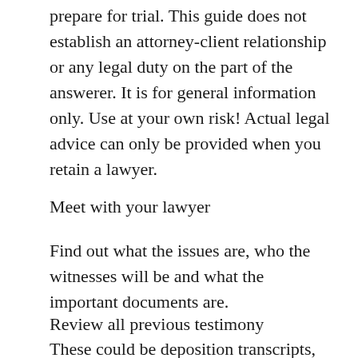prepare for trial. This guide does not establish an attorney-client relationship or any legal duty on the part of the answerer. It is for general information only. Use at your own risk! Actual legal advice can only be provided when you retain a lawyer.
Meet with your lawyer
Find out what the issues are, who the witnesses will be and what the important documents are.
Review all previous testimony
These could be deposition transcripts,